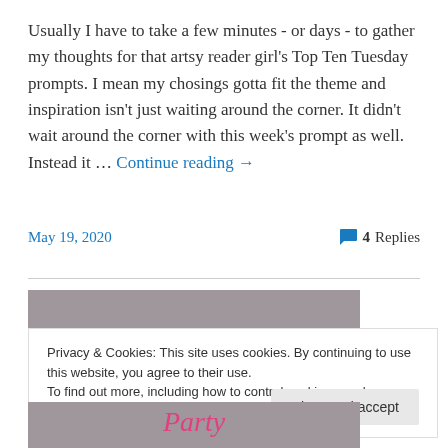Usually I have to take a few minutes - or days - to gather my thoughts for that artsy reader girl's Top Ten Tuesday prompts. I mean my chosings gotta fit the theme and inspiration isn't just waiting around the corner. It didn't wait around the corner with this week's prompt as well. Instead it … Continue reading →
May 19, 2020
4 Replies
[Figure (illustration): Gray background image banner with purple cursive text partially visible reading 'Top' at top and 'Party' at bottom]
Privacy & Cookies: This site uses cookies. By continuing to use this website, you agree to their use.
To find out more, including how to control cookies, see here: Cookie Policy